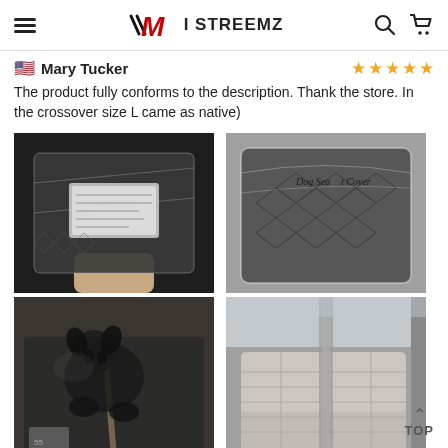I STREEMZ
Mary Tucker
★★★★★
The product fully conforms to the description. Thank the store. In the crossover size L came as native)
[Figure (photo): Four photos of a dog seat cover product: top-left shows packaged dark quilted cover held in hand, top-right shows packaged cover in clear plastic with 'Dog Seat Cover' label, bottom-left shows a dog on a car seat with the cover, bottom-right shows installed grey car seat cover with strap visible.]